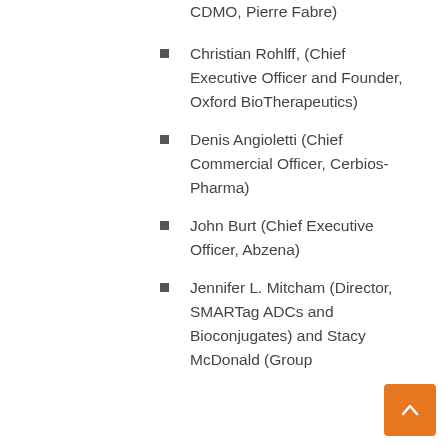CDMO, Pierre Fabre)
Christian Rohlff, (Chief Executive Officer and Founder, Oxford BioTherapeutics)
Denis Angioletti (Chief Commercial Officer, Cerbios-Pharma)
John Burt (Chief Executive Officer, Abzena)
Jennifer L. Mitcham (Director, SMARTag ADCs and Bioconjugates) and Stacy McDonald (Group